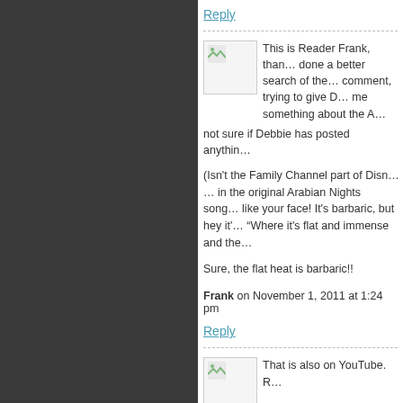Reply
[Figure (photo): Avatar image placeholder with broken image icon]
This is Reader Frank, than... done a better search of the... comment, trying to give D... me something about the A... not sure if Debbie has posted anythin...
(Isn't the Family Channel part of Disn... ... in the original Arabian Nights song... like your face! It's barbaric, but hey it'... “Where it's flat and immense and the...
Sure, the flat heat is barbaric!!
Frank on November 1, 2011 at 1:24 pm
Reply
[Figure (photo): Avatar image placeholder with broken image icon]
That is also on YouTube. R...